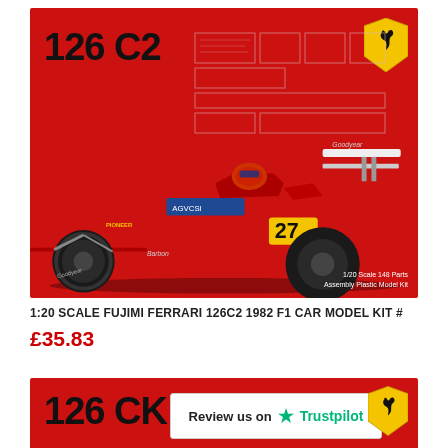[Figure (photo): Product box art for Fujimi Ferrari 126C2 1:20 scale F1 car model kit. Red box with large '126 C2' title text, Ferrari shield logo, decal sheet diagrams, and illustrated red Formula 1 car with number 27. Small text reads '1/20 Scale 148 Parts Assembly Plastic Model Kit'.]
1:20 SCALE FUJIMI FERRARI 126C2 1982 F1 CAR MODEL KIT #
£35.83
[Figure (photo): Partial product box art for Fujimi Ferrari 126CK model kit. Red box with '126 CK' text and Ferrari shield logo visible. A Trustpilot review badge overlays the image reading 'Review us on ★ Trustpilot'.]